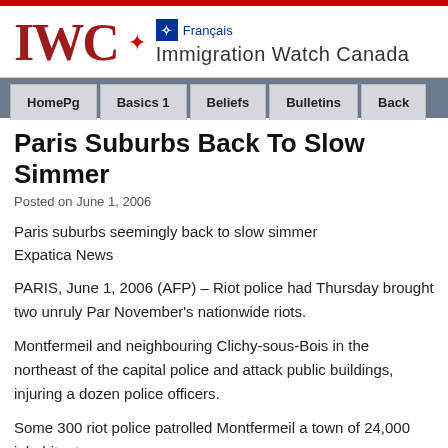[Figure (logo): IWC Immigration Watch Canada logo with maple leaf and fleur-de-lis]
IWC Immigration Watch Canada
HomePg | Basics 1 | Beliefs | Bulletins | Back
Paris Suburbs Back To Slow Simmer
Posted on June 1, 2006
Paris suburbs seemingly back to slow simmer
Expatica News
PARIS, June 1, 2006 (AFP) – Riot police had Thursday brought two unruly Par... November's nationwide riots.
Montfermeil and neighbouring Clichy-sous-Bois in the northeast of the capital... police and attack public buildings, injuring a dozen police officers.
Some 300 riot police patrolled Montfermeil a town of 24,000 inhabitants overn...